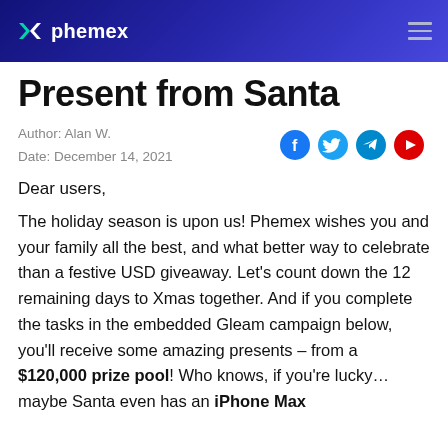phemex
Present from Santa
Author: Alan W.
Date: December 14, 2021
Dear users,
The holiday season is upon us! Phemex wishes you and your family all the best, and what better way to celebrate than a festive USD giveaway. Let's count down the 12 remaining days to Xmas together. And if you complete the tasks in the embedded Gleam campaign below, you'll receive some amazing presents – from a $120,000 prize pool! Who knows, if you're lucky…maybe Santa even has an iPhone Max